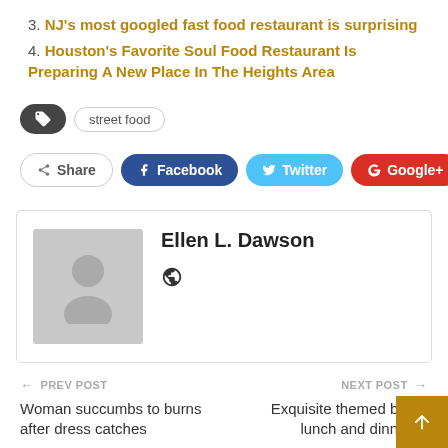3. NJ's most googled fast food restaurant is surprising
4. Houston's Favorite Soul Food Restaurant Is Preparing A New Place In The Heights Area
street food
Share  Facebook  Twitter  Google+
Ellen L. Dawson
← PREV POST  Woman succumbs to burns after dress catches
NEXT POST →  Exquisite themed buff lunch and dinner at